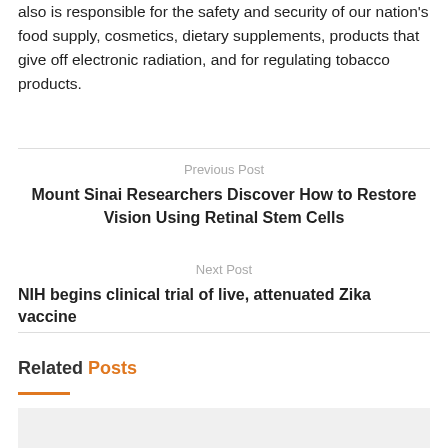also is responsible for the safety and security of our nation's food supply, cosmetics, dietary supplements, products that give off electronic radiation, and for regulating tobacco products.
Previous Post
Mount Sinai Researchers Discover How to Restore Vision Using Retinal Stem Cells
Next Post
NIH begins clinical trial of live, attenuated Zika vaccine
Related Posts